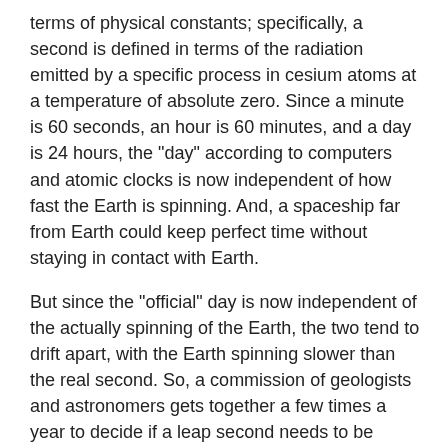terms of physical constants; specifically, a second is defined in terms of the radiation emitted by a specific process in cesium atoms at a temperature of absolute zero. Since a minute is 60 seconds, an hour is 60 minutes, and a day is 24 hours, the "day" according to computers and atomic clocks is now independent of how fast the Earth is spinning. And, a spaceship far from Earth could keep perfect time without staying in contact with Earth.
But since the "official" day is now independent of the actually spinning of the Earth, the two tend to drift apart, with the Earth spinning slower than the real second. So, a commission of geologists and astronomers gets together a few times a year to decide if a leap second needs to be added at the end of June or the end of December.
This year we get a leap second at the end of December. It's the first time a leap second has been added to a leap year since 1992. So, 2008 is indeed the longest year in 16 years. Since better things are hopefully ahead next year, we'll just have to be an extra day and one second patient for this year.
There is some talk about getting rid of leap seconds, and